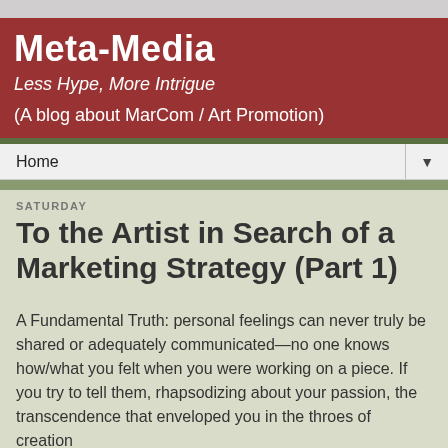Meta-Media
Less Hype, More Intrigue
(A blog about MarCom / Art Promotion)
Home
SATURDAY
To the Artist in Search of a Marketing Strategy (Part 1)
A Fundamental Truth: personal feelings can never truly be shared or adequately communicated—no one knows how/what you felt when you were working on a piece. If you try to tell them, rhapsodizing about your passion, the transcendence that enveloped you in the throes of creation